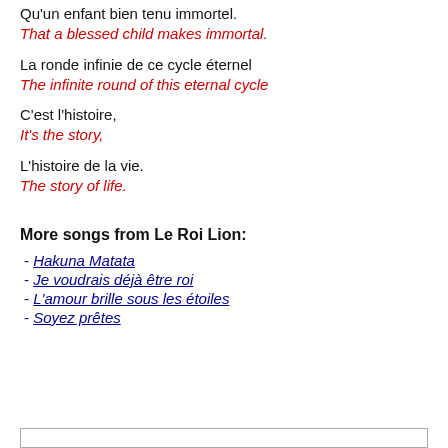Qu'un enfant bien tenu immortel.
That a blessed child makes immortal.
La ronde infinie de ce cycle éternel
The infinite round of this eternal cycle
C'est l'histoire,
It's the story,
L'histoire de la vie.
The story of life.
More songs from Le Roi Lion:
- Hakuna Matata
- Je voudrais déjà être roi
- L'amour brille sous les étoiles
- Soyez prêtes